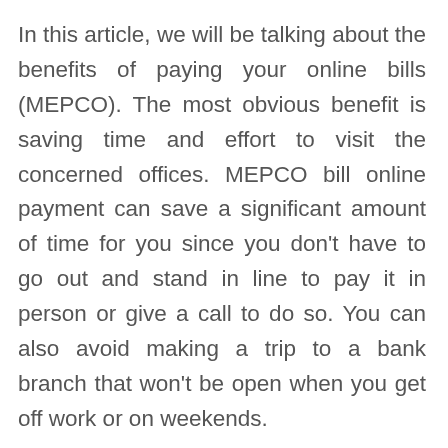In this article, we will be talking about the benefits of paying your online bills (MEPCO). The most obvious benefit is saving time and effort to visit the concerned offices. MEPCO bill online payment can save a significant amount of time for you since you don't have to go out and stand in line to pay it in person or give a call to do so. You can also avoid making a trip to a bank branch that won't be open when you get off work or on weekends.
Another benefit is that there are no usage fees for MEPCO bills payment on any e-service provider like jazz cash, easy paisa, or any other internet banking-